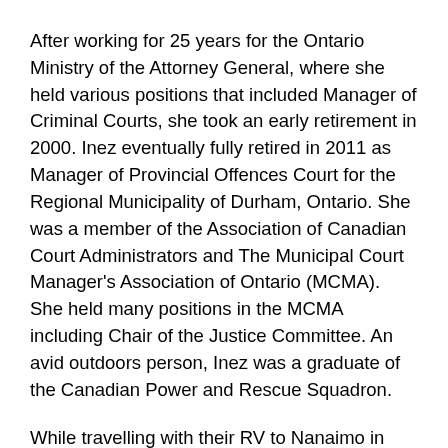After working for 25 years for the Ontario Ministry of the Attorney General, where she held various positions that included Manager of Criminal Courts, she took an early retirement in 2000. Inez eventually fully retired in 2011 as Manager of Provincial Offences Court for the Regional Municipality of Durham, Ontario. She was a member of the Association of Canadian Court Administrators and The Municipal Court Manager's Association of Ontario (MCMA). She held many positions in the MCMA including Chair of the Justice Committee. An avid outdoors person, Inez was a graduate of the Canadian Power and Rescue Squadron.
While travelling with their RV to Nanaimo in 2013 for the winter, Inez and Bob made an overnight stop in Osoyoos, BC. After extending their stay in Osoyoos a few times, they just didn't leave. They embraced the Okanagan lifestyle and they happily resided in Osoyoos since then.
Inez is a Sister in truth at the Osoyoos Kingdom Hall. She regularly attended services, studied the Bible with her Sisters weekly. When she became ill and unable to attend the Hall, she